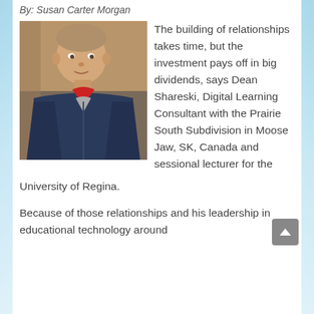By: Susan Carter Morgan
[Figure (photo): Portrait photo of Dean Shareski, a middle-aged man with short hair wearing a navy blue jacket with red accents and a grey shirt, seated indoors against a warm-toned background.]
The building of relationships takes time, but the investment pays off in big dividends, says Dean Shareski, Digital Learning Consultant with the Prairie South Subdivision in Moose Jaw, SK, Canada and sessional lecturer for the University of Regina.
Because of those relationships and his leadership in educational technology around